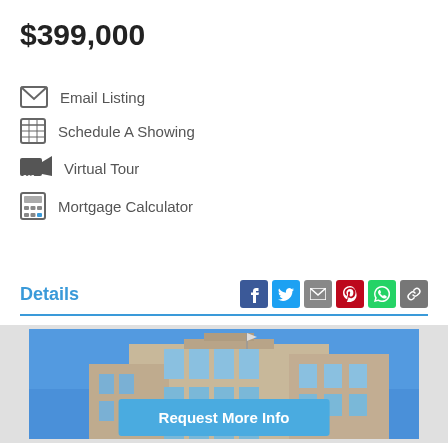$399,000
Email Listing
Schedule A Showing
Virtual Tour
Mortgage Calculator
Details
[Figure (photo): Exterior photo of a modern multi-story condominium building with balconies against a blue sky]
Request More Info